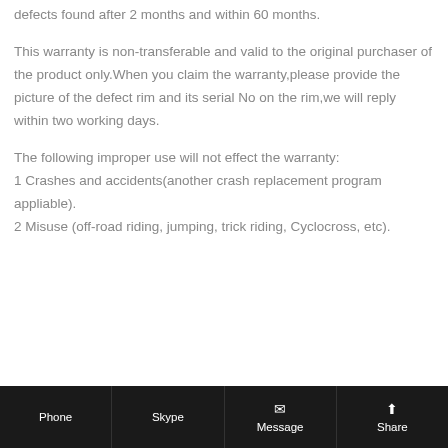defects found after 2 months and within 60 months.
This warranty is non-transferable and valid to the original purchaser of the product only.When you claim the warranty,please provide the picture of the defect rim and its serial No on the rim,we will reply within two working days.
The following improper use will not effect the warranty:
1 Crashes and accidents(another crash replacement program appliable).
2 Misuse (off-road riding, jumping, trick riding, Cyclocross, etc).
Phone  Skype  Message  Share